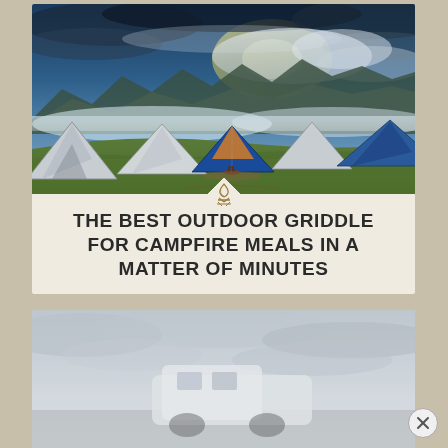[Figure (photo): Camping scene with multiple colorful dome tents on a green hillside under a dramatic cloudy blue sky, with mountain range and fog in the background]
THE BEST OUTDOOR GRIDDLE FOR CAMPFIRE MEALS IN A MATTER OF MINUTES
[Figure (photo): Blurry outdoor scene showing a white vehicle or RV under a cloudy overcast sky, partially visible advertisement or article card]